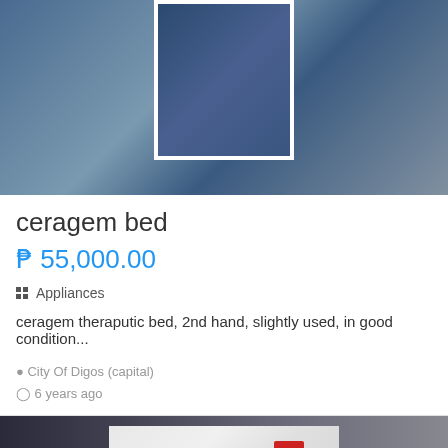[Figure (photo): Product listing photo of ceragem bed, blurred background with centered thumbnail showing blue fabric item]
ceragem bed
₱ 55,000.00
Appliances
ceragem theraputic bed, 2nd hand, slightly used, in good condition...
City Of Digos (capital)
6 years ago
[Figure (photo): Product listing photo of a dark navy blue futon/sofa bed in a room with white tile floor]